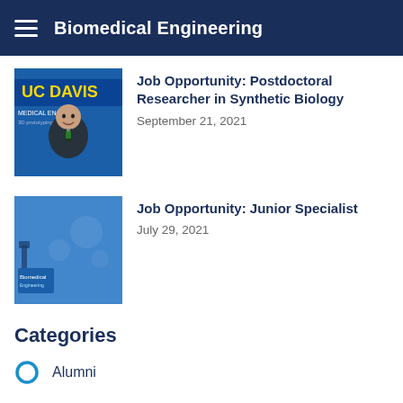Biomedical Engineering
Job Opportunity: Postdoctoral Researcher in Synthetic Biology
September 21, 2021
[Figure (photo): Man in suit smiling in front of UC Davis Medical Engineering banner]
Job Opportunity: Junior Specialist
July 29, 2021
[Figure (photo): Blue background image with partial equipment or poster visible]
Categories
Alumni